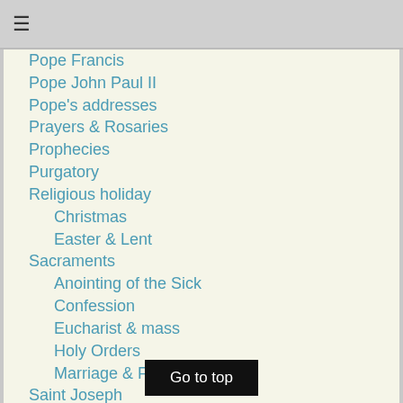≡
Pope Francis
Pope John Paul II
Pope's addresses
Prayers & Rosaries
Prophecies
Purgatory
Religious holiday
Christmas
Easter & Lent
Sacraments
Anointing of the Sick
Confession
Eucharist & mass
Holy Orders
Marriage & Family
Saint Joseph
Saints & Blessed
Social Doctrine
Testimonies
Vatican II
Go to top